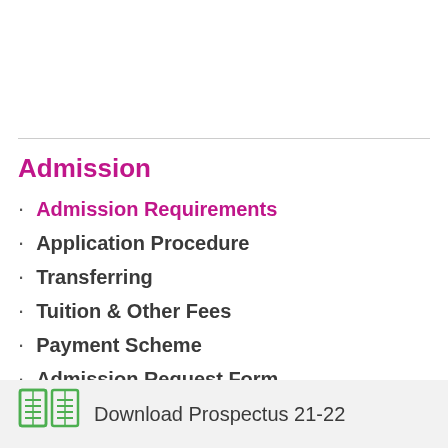Admission
Admission Requirements
Application Procedure
Transferring
Tuition & Other Fees
Payment Scheme
Admission Request Form
[Figure (illustration): Book/prospectus icon in green outline style]
Download Prospectus 21-22